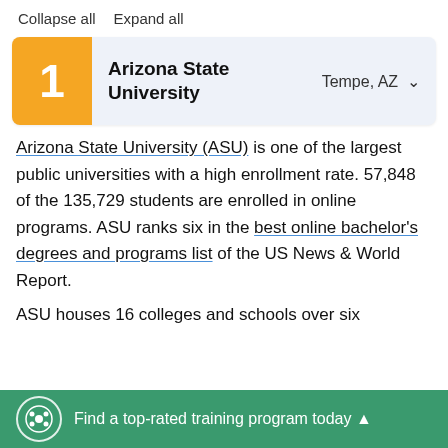Collapse all   Expand all
1  Arizona State University  Tempe, AZ
Arizona State University (ASU) is one of the largest public universities with a high enrollment rate. 57,848 of the 135,729 students are enrolled in online programs. ASU ranks six in the best online bachelor's degrees and programs list of the US News & World Report.
ASU houses 16 colleges and schools over six
Find a top-rated training program today ▲